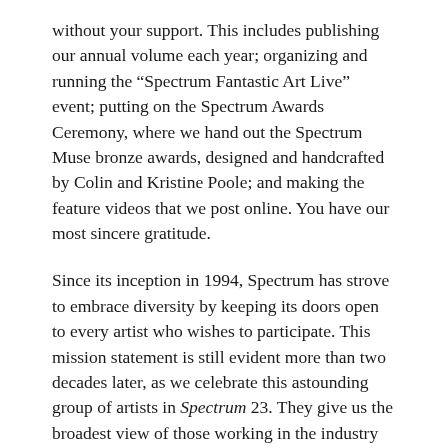without your support. This includes publishing our annual volume each year; organizing and running the “Spectrum Fantastic Art Live” event; putting on the Spectrum Awards Ceremony, where we hand out the Spectrum Muse bronze awards, designed and handcrafted by Colin and Kristine Poole; and making the feature videos that we post online. You have our most sincere gratitude.
Since its inception in 1994, Spectrum has strove to embrace diversity by keeping its doors open to every artist who wishes to participate. This mission statement is still evident more than two decades later, as we celebrate this astounding group of artists in Spectrum 23. They give us the broadest view of those working in the industry today.
Challenging, controversial, educational and irreverent, the award-winning Spectrum series reinforces both the